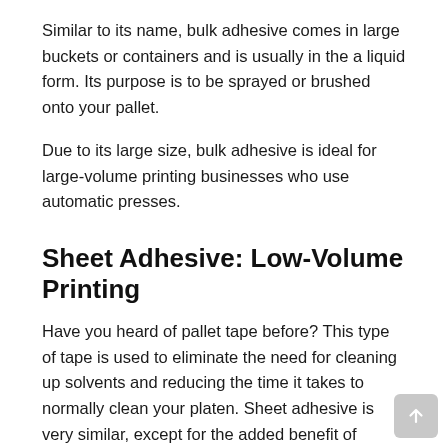Similar to its name, bulk adhesive comes in large buckets or containers and is usually in the a liquid form. Its purpose is to be sprayed or brushed onto your pallet.
Due to its large size, bulk adhesive is ideal for large-volume printing businesses who use automatic presses.
Sheet Adhesive: Low-Volume Printing
Have you heard of pallet tape before? This type of tape is used to eliminate the need for cleaning up solvents and reducing the time it takes to normally clean your platen. Sheet adhesive is very similar, except for the added benefit of having tape (or a sticky sides) on both sides.
Sheet adhesive is mostly used for low-volume printers,